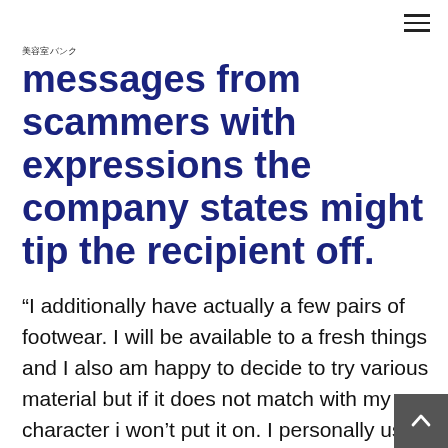美容室バンク
messages from scammers with expressions the company states might tip the recipient off.
“I additionally have actually a few pairs of footwear. I will be available to a fresh things and I also am happy to decide to try various material but if it does not match with my character i won’t put it on. I personally use facial cleansers often times, creams and attention ointments. generally don’t scent,” one e-mail throu